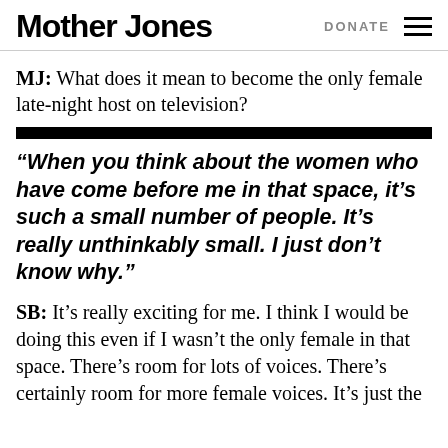Mother Jones  DONATE
MJ: What does it mean to become the only female late-night host on television?
“When you think about the women who have come before me in that space, it’s such a small number of people. It’s really unthinkably small. I just don’t know why.”
SB: It’s really exciting for me. I think I would be doing this even if I wasn’t the only female in that space. There’s room for lots of voices. There’s certainly room for more female voices. It’s just the